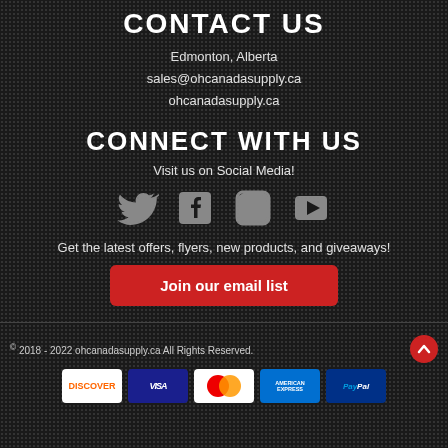CONTACT US
Edmonton, Alberta
sales@ohcanadasupply.ca
ohcanadasupply.ca
CONNECT WITH US
Visit us on Social Media!
[Figure (illustration): Social media icons: Twitter, Facebook, Instagram, YouTube]
Get the latest offers, flyers, new products, and giveaways!
Join our email list
© 2018 - 2022 ohcanadasupply.ca All Rights Reserved.
[Figure (illustration): Payment method logos: Discover, Visa, Mastercard, American Express, PayPal]